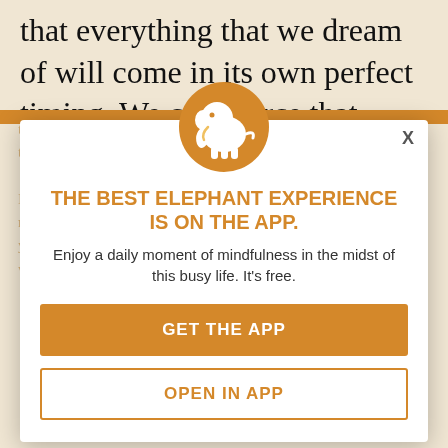that everything that we dream of will come in its own perfect timing. We can't force that timing, but we can put in the effort on our own end and the trust the timing of the results. It's not easy.
I've had sleepless nights on top of anxious days — trying to sort out my money, what others tell you that it is wrong to want things for yourself. But in the meantime, we're waiting for all the things we want to come to us— here are a few...
[Figure (logo): Orange circle with white elephant logo icon]
THE BEST ELEPHANT EXPERIENCE IS ON THE APP.
Enjoy a daily moment of mindfulness in the midst of this busy life. It's free.
GET THE APP
OPEN IN APP